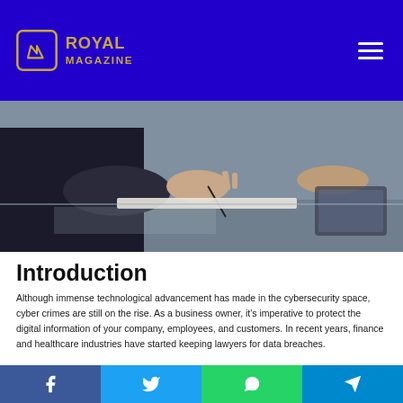Royal Magazine
[Figure (photo): Close-up photo of hands signing or writing on a document at a desk, business setting]
Introduction
Although immense technological advancement has made in the cybersecurity space, cyber crimes are still on the rise. As a business owner, it's imperative to protect the digital information of your company, employees, and customers. In recent years, finance and healthcare industries have started keeping lawyers for data breaches.
Facebook | Twitter | WhatsApp | Telegram